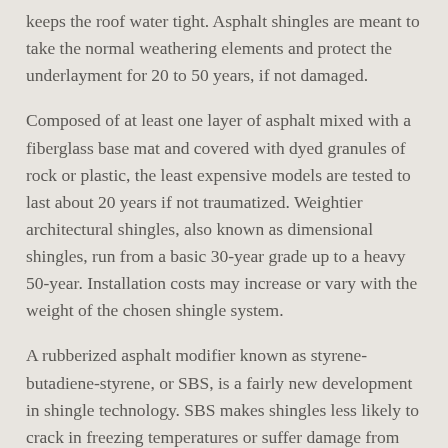keeps the roof water tight. Asphalt shingles are meant to take the normal weathering elements and protect the underlayment for 20 to 50 years, if not damaged.
Composed of at least one layer of asphalt mixed with a fiberglass base mat and covered with dyed granules of rock or plastic, the least expensive models are tested to last about 20 years if not traumatized. Weightier architectural shingles, also known as dimensional shingles, run from a basic 30-year grade up to a heavy 50-year. Installation costs may increase or vary with the weight of the chosen shingle system.
A rubberized asphalt modifier known as styrene-butadiene-styrene, or SBS, is a fairly new development in shingle technology. SBS makes shingles less likely to crack in freezing temperatures or suffer damage from hailstones two inches or less